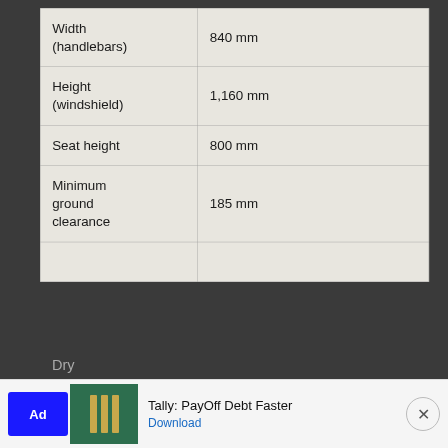| Specification | Value |
| --- | --- |
| Width (handlebars) | 840 mm |
| Height (windshield) | 1,160 mm |
| Seat height | 800 mm |
| Minimum ground clearance | 185 mm |
| Dry |  |
[Figure (infographic): Advertisement banner: Tally: PayOff Debt Faster with Download link]